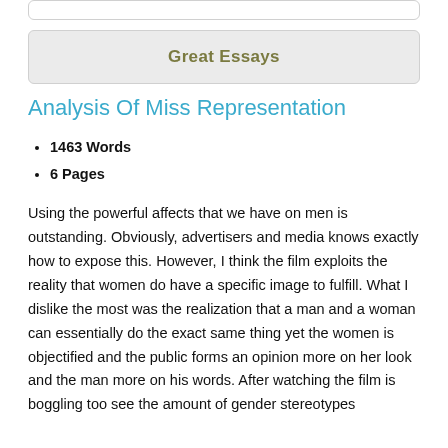Great Essays
Analysis Of Miss Representation
1463 Words
6 Pages
Using the powerful affects that we have on men is outstanding. Obviously, advertisers and media knows exactly how to expose this. However, I think the film exploits the reality that women do have a specific image to fulfill. What I dislike the most was the realization that a man and a woman can essentially do the exact same thing yet the women is objectified and the public forms an opinion more on her look and the man more on his words. After watching the film is boggling too see the amount of gender stereotypes